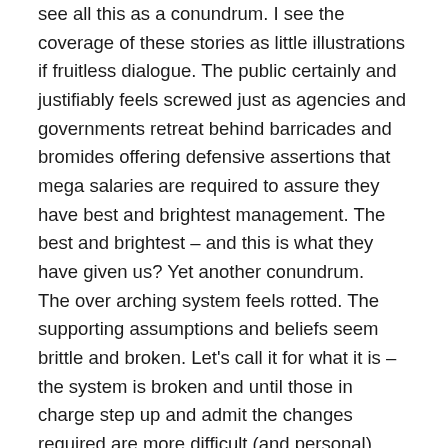see all this as a conundrum.  I see the coverage of these stories as little illustrations if fruitless dialogue.  The public certainly and justifiably feels screwed just as agencies and governments retreat behind barricades and bromides offering defensive assertions that mega salaries are required to assure they have best and brightest management.  The best and brightest – and this is what they have given us?  Yet another conundrum.
The over arching system feels rotted.  The supporting assumptions and beliefs seem brittle and broken.   Let's call it for what it is – the system is broken and until those in charge step up and admit the changes required are more difficult (and personal) than simply raising taxes and fees while cutting services we will have little meaningful resolution.